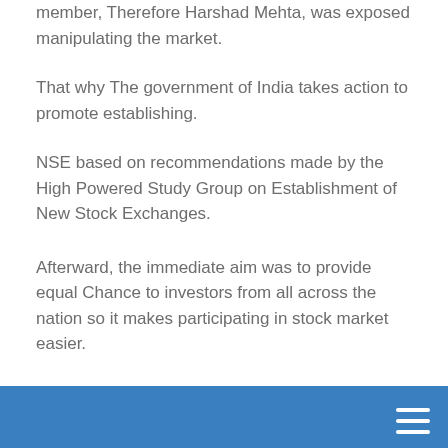member,  Therefore Harshad Mehta, was exposed manipulating the market.
That why The government of India takes action to promote establishing.
NSE based on recommendations made by the High Powered Study Group on Establishment of New Stock Exchanges.
Afterward, the immediate aim was to provide equal Chance to investors from all across the nation so it makes participating in stock market easier.
NSE Share Market